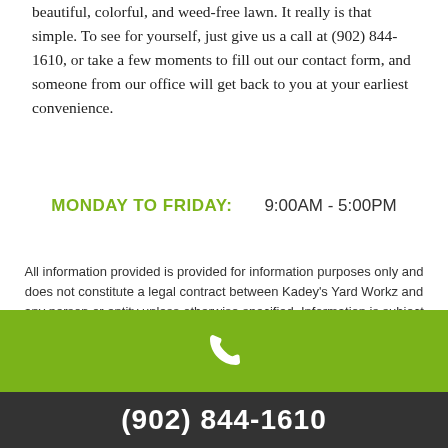beautiful, colorful, and weed-free lawn. It really is that simple. To see for yourself, just give us a call at (902) 844-1610, or take a few moments to fill out our contact form, and someone from our office will get back to you at your earliest convenience.
MONDAY TO FRIDAY:    9:00AM - 5:00PM
All information provided is provided for information purposes only and does not constitute a legal contract between Kadey's Yard Workz and any person or entity unless otherwise specified. Information is subject to change without prior notice. Although every reasonable effort is made to present current and accurate information, LinkNow™ Media makes no guarantees of any kind.
(902) 844-1610